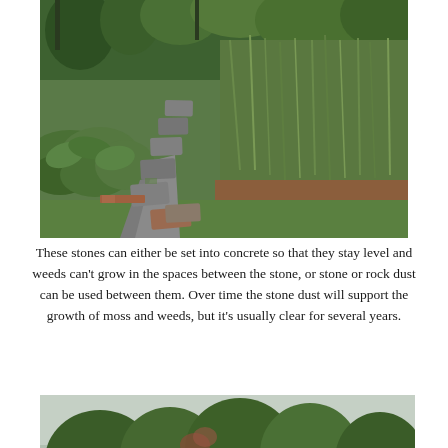[Figure (photo): Garden stone path winding through lush green plants, hostas on left, tall grasses on right, viewed from above at an angle]
These stones can either be set into concrete so that they stay level and weeds can't grow in the spaces between the stone, or stone or rock dust can be used between them. Over time the stone dust will support the growth of moss and weeds, but it's usually clear for several years.
[Figure (photo): Garden landscape with shaped topiary hedges and trees, overcast sky, tall plants visible in foreground]